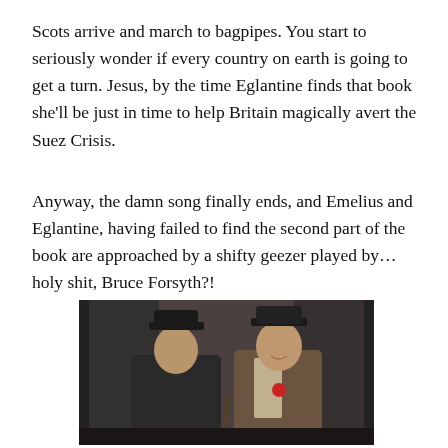Scots arrive and march to bagpipes. You start to seriously wonder if every country on earth is going to get a turn. Jesus, by the time Eglantine finds that book she'll be just in time to help Britain magically avert the Suez Crisis.
Anyway, the damn song finally ends, and Emelius and Eglantine, having failed to find the second part of the book are approached by a shifty geezer played by…holy shit, Bruce Forsyth?!
[Figure (photo): A black-and-white or desaturated film still showing two men in hats in conversation, one wearing a dark suit and the other in lighter clothing with a red flower, indoor setting]